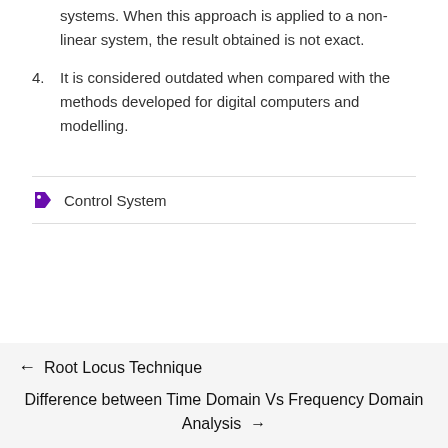systems. When this approach is applied to a non-linear system, the result obtained is not exact.
4. It is considered outdated when compared with the methods developed for digital computers and modelling.
Control System
← Root Locus Technique
Difference between Time Domain Vs Frequency Domain Analysis →